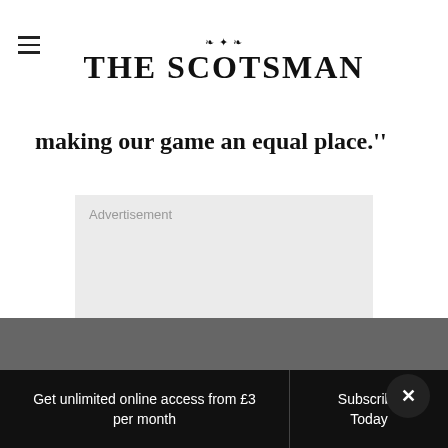THE SCOTSMAN
making our game an equal place."
[Figure (other): Advertisement placeholder box with light grey background]
Get unlimited online access from £3 per month
Subscribe Today